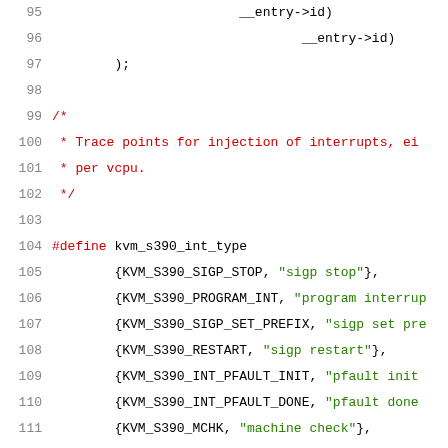Source code listing, lines 95-116, KVM s390 interrupt type definitions
95:                         __entry->id)
96:                         __entry->id)
97:         );
98:
99: /*
100:  * Trace points for injection of interrupts, ei
101:  * per vcpu.
102:  */
103:
104: #define kvm_s390_int_type
105:         {KVM_S390_SIGP_STOP, "sigp stop"},
106:         {KVM_S390_PROGRAM_INT, "program interrup
107:         {KVM_S390_SIGP_SET_PREFIX, "sigp set pre
108:         {KVM_S390_RESTART, "sigp restart"},
109:         {KVM_S390_INT_PFAULT_INIT, "pfault init
110:         {KVM_S390_INT_PFAULT_DONE, "pfault done
111:         {KVM_S390_MCHK, "machine check"},
112:         {KVM_S390_INT_CLOCK_COMP, "clock compara
113:         {KVM_S390_INT_CPU_TIMER, "cpu timer"},
114:         {KVM_S390_INT_VIRTIO, "virtio interrupt
115:         {KVM_S390_INT_SERVICE, "sclp interrupt"
116:         {KVM_S390_INT_EMERGENCY, "sigp emergenc